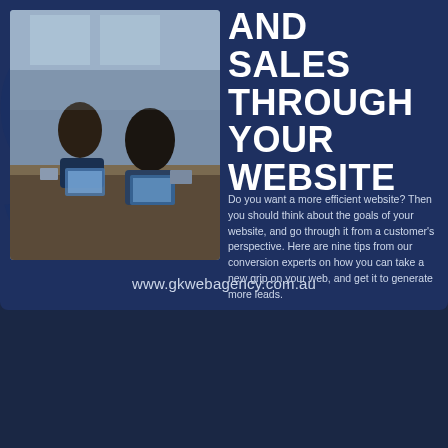[Figure (infographic): Dark blue promotional infographic panel with large '9' numeral, office photo inset showing people working at computers, bold white title text 'AND SALES THROUGH YOUR WEBSITE', descriptive paragraph about website efficiency tips, and URL www.gkwebagency.com.au]
AND SALES THROUGH YOUR WEBSITE
Do you want a more efficient website? Then you should think about the goals of your website, and go through it from a customer's perspective. Here are nine tips from our conversion experts on how you can take a new grip on your web, and get it to generate more leads.
www.gkwebagency.com.au
GK WEB AGENCY
LAST UPDATE
28 SEPTEMBER 2021